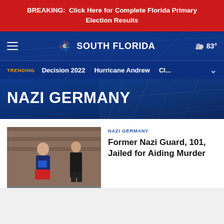BREAKING: Click Here for Complete Florida Primary Election Results
[Figure (logo): NBC 6 South Florida logo with hamburger menu and weather showing 83°]
TRENDING  Decision 2022  Hurricane Andrew  Cl...
NAZI GERMANY
[Figure (photo): Two people standing outside a brick building, one bald man in red/navy outfit holding blue folder, another in dark clothing]
NAZI GERMANY
Former Nazi Guard, 101, Jailed for Aiding Murder